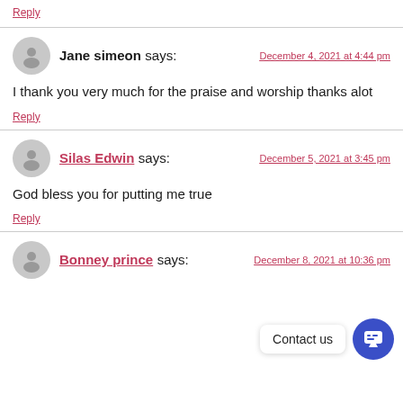Reply
Jane simeon says:
December 4, 2021 at 4:44 pm
I thank you very much for the praise and worship thanks alot
Reply
Silas Edwin says:
December 5, 2021 at 3:45 pm
God bless you for putting me true
Reply
Bonney prince says:
December 8, 2021 at 10:36 pm
Contact us